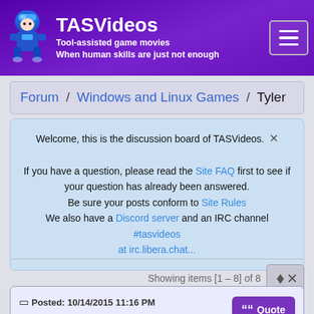TASVideos - Tool-assisted game movies - When human skills are just not enough
Forum / Windows and Linux Games / Tyler
Welcome, this is the discussion board of TASVideos. ×

If you have a question, please read the Site FAQ first to see if your question has already been answered.
Be sure your posts conform to Site Rules
We also have a Discord server and an IRC channel #tasvideos at irc.libera.chat...
Showing items [1 - 8] of 8
Posted: 10/14/2015 11:16 PM
(Edited: 10/15/2015 8:36 PM)